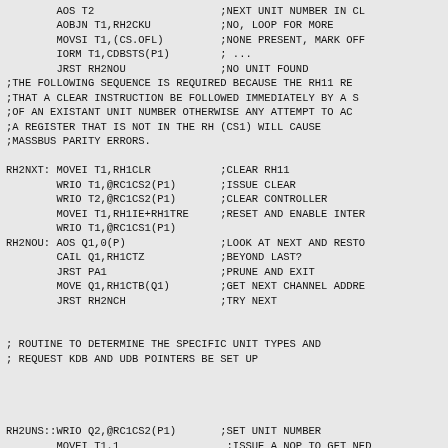AOS T2                    ;NEXT UNIT NUMBER IN CL
        AOBJN T1,RH2CKU           ;NO, LOOP FOR MORE
        MOVSI T1,(CS.OFL)         ;NONE PRESENT, MARK OFF
        IORM T1,CDBSTS(P1)        ; ...
        JRST RH2NOU               ;NO UNIT FOUND
;THE FOLLOWING SEQUENCE IS REQUIRED BECAUSE THE RH11 RE
;THAT A CLEAR INSTRUCTION BE FOLLOWED IMMEDIATELY BY A S
;OF AN EXISTANT UNIT NUMBER OTHERWISE ANY ATTEMPT TO AC
;A REGISTER THAT IS NOT IN THE RH (CS1) WILL CAUSE
;MASSBUS PARITY ERRORS.

RH2NXT: MOVEI T1,RH1CLR           ;CLEAR RH11
        WRIO T1,@RC1CS2(P1)       ;ISSUE CLEAR
        WRIO T2,@RC1CS2(P1)       ;CLEAR CONTROLLER
        MOVEI T1,RH1IE+RH1TRE     ;RESET AND ENABLE INTER
        WRIO T1,@RC1CS1(P1)
RH2NOU: AOS Q1,0(P)               ;LOOK AT NEXT AND RESTO
        CAIL Q1,RH1CTZ             ;BEYOND LAST?
        JRST PA1                  ;PRUNE AND EXIT
        MOVE Q1,RH1CTB(Q1)        ;GET NEXT CHANNEL ADDRES
        JRST RH2NCH               ;TRY NEXT


; ROUTINE TO DETERMINE THE SPECIFIC UNIT TYPES AND
; REQUEST KDB AND UDB POINTERS BE SET UP




RH2UNS::WRIO Q2,@RC1CS2(P1)       ;SET UNIT NUMBER
        MOVEI T1,1                 ;ISSUE A NOP TO GET NED
        WRIO T1,@RC1CS1(P1)